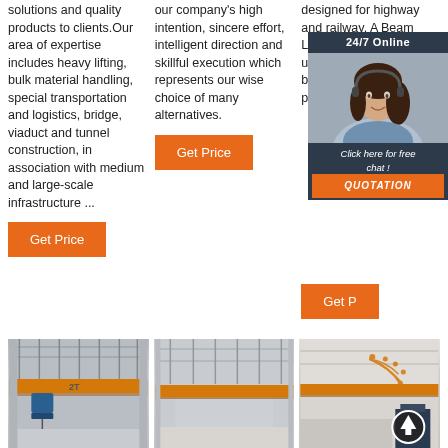solutions and quality products to clients.Our area of expertise includes heavy lifting, bulk material handling, special transportation and logistics, bridge, viaduct and tunnel construction, in association with medium and large-scale infrastructure ...
our company's high intention, sincere effort, intelligent direction and skillful execution which represents our wise choice of many alternatives.
designed for highway and railway. A Beam Launcher is commonly used to lift the pre-cast beams in place. The precast beams are placed with a Beam Launcher on top of ...
[Figure (photo): 24/7 Online chat overlay with woman customer service representative photo, and QUOTATION button]
[Figure (photo): Interior photo of industrial building showing overhead crane with orange beam, labeled 2T]
[Figure (photo): Interior photo of industrial warehouse showing overhead crane with orange beam]
[Figure (photo): Industrial interior with overhead crane orange beam and decorative upload arrow icon overlay]